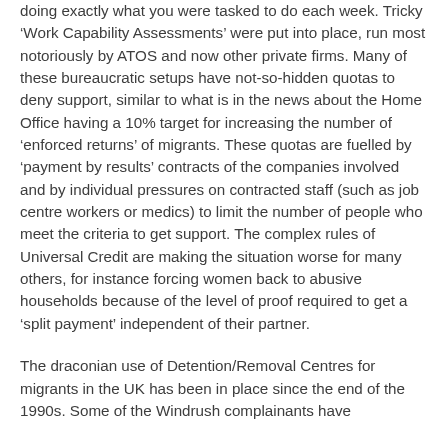doing exactly what you were tasked to do each week. Tricky 'Work Capability Assessments' were put into place, run most notoriously by ATOS and now other private firms. Many of these bureaucratic setups have not-so-hidden quotas to deny support, similar to what is in the news about the Home Office having a 10% target for increasing the number of 'enforced returns' of migrants. These quotas are fuelled by 'payment by results' contracts of the companies involved and by individual pressures on contracted staff (such as job centre workers or medics) to limit the number of people who meet the criteria to get support. The complex rules of Universal Credit are making the situation worse for many others, for instance forcing women back to abusive households because of the level of proof required to get a 'split payment' independent of their partner.
The draconian use of Detention/Removal Centres for migrants in the UK has been in place since the end of the 1990s. Some of the Windrush complainants have